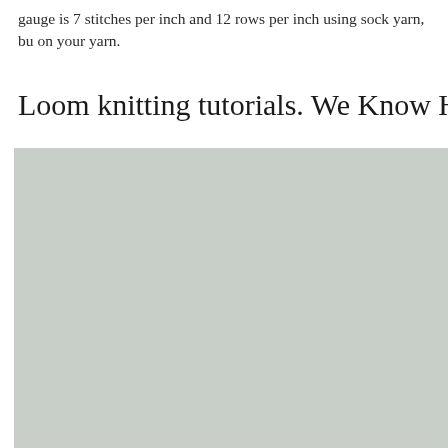gauge is 7 stitches per inch and 12 rows per inch using sock yarn, bu on your yarn.
Loom knitting tutorials. We Know How To Do
[Figure (photo): A large light grey/greenish-grey image placeholder, likely a photo of loom knitting content, shown inside a bordered container.]